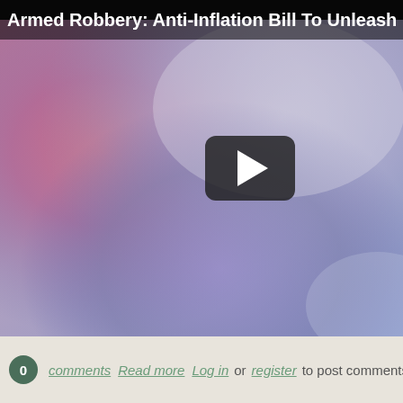Armed Robbery: Anti-Inflation Bill To Unleash Massive
[Figure (screenshot): Video thumbnail with blurred pink, purple, and grey gradient background, featuring a dark rounded-rectangle play button with white triangle in the center-right area.]
0 comments  Read more  Log in or register to post comments  93 reads